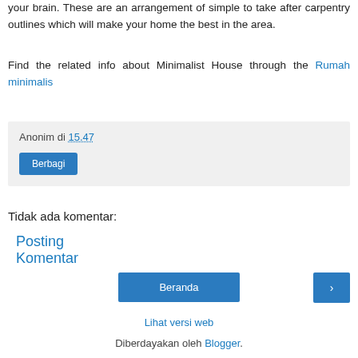your brain. These are an arrangement of simple to take after carpentry outlines which will make your home the best in the area.
Find the related info about Minimalist House through the Rumah minimalis
Anonim di 15.47
Berbagi
Tidak ada komentar:
Posting Komentar
Beranda
›
Lihat versi web
Diberdayakan oleh Blogger.